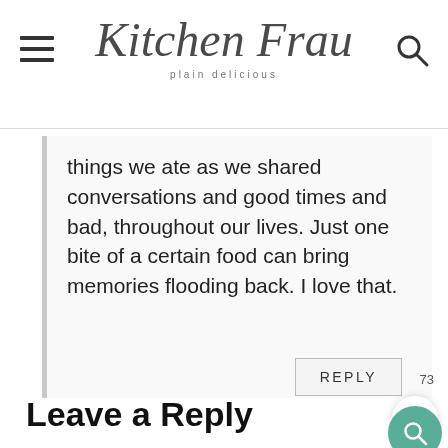Kitchen Frau plain delicious
things we ate as we shared conversations and good times and bad, throughout our lives. Just one bite of a certain food can bring memories flooding back. I love that.
REPLY
73
Leave a Reply